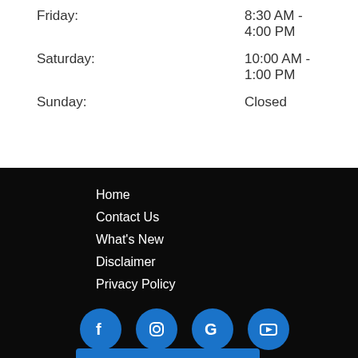Friday: 8:30 AM - 4:00 PM
Saturday: 10:00 AM - 1:00 PM
Sunday: Closed
Home
Contact Us
What's New
Disclaimer
Privacy Policy
[Figure (infographic): Four blue circular social media icons: Facebook, Instagram, Google, YouTube]